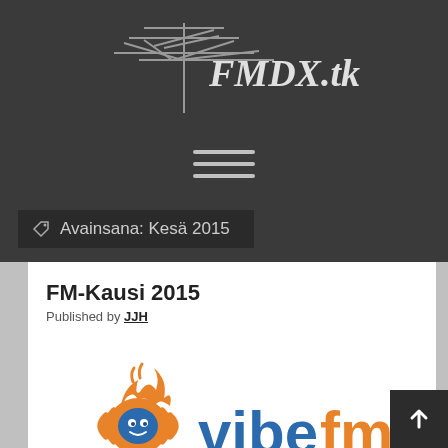[Figure (logo): FMDX.tk website logo with antenna graphic and italic text 'FMDX.tk' on dark grey background]
[Figure (infographic): Hamburger menu icon (three horizontal lines) on dark grey background]
Avainsana: Kesä 2015
FM-Kausi 2015
Published by JJH
[Figure (logo): Vibe FM 88.7 radio station logo with orange flame/character mascot and orange and blue 'vibefm' text]